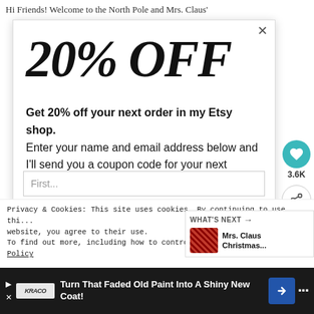Hi Friends! Welcome to the North Pole and Mrs. Claus'
20% OFF
Get 20% off your next order in my Etsy shop. Enter your name and email address below and I'll send you a coupon code for your next shopping trip!
First...
3.6K
Privacy & Cookies: This site uses cookies. By continuing to use this website, you agree to their use.
To find out more, including how to control cookies, see here: Cookie Policy
WHAT'S NEXT → Mrs. Claus Christmas...
Accept
Turn That Faded Old Paint Into A Shiny New Coat!